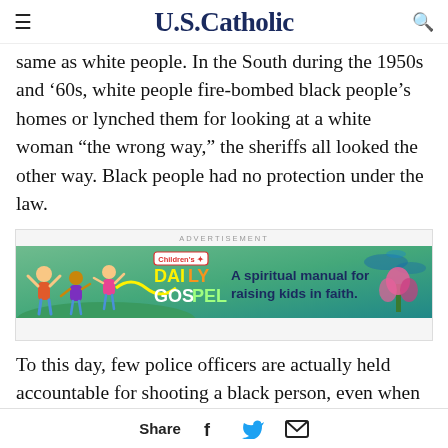U.S.Catholic
same as white people. In the South during the 1950s and ‘60s, white people fire-bombed black people’s homes or lynched them for looking at a white woman “the wrong way,” the sheriffs all looked the other way. Black people had no protection under the law.
[Figure (other): Advertisement banner for Children's Daily Gospel - A spiritual manual for raising kids in faith, showing illustrated children with colorful text logo]
To this day, few police officers are actually held accountable for shooting a black person, even when that black person is unarmed or a child.
Share  [Facebook icon]  [Twitter icon]  [Email icon]